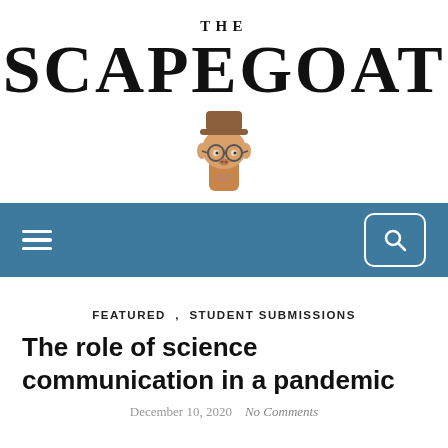THE SCAPEGOAT
[Figure (illustration): Cartoon goat head wearing round glasses and a brown hat, serving as the publication mascot logo]
[Figure (screenshot): Navigation bar with hamburger menu icon on the left and search icon in a rounded rectangle on the right, on a steel-blue background]
FEATURED , STUDENT SUBMISSIONS
The role of science communication in a pandemic
December 10, 2020   No Comments